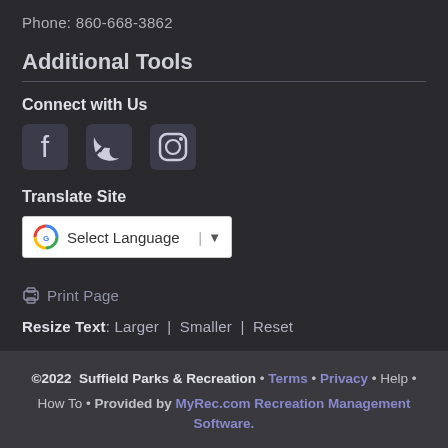Phone: 860-668-3862
Additional Tools
Connect with Us
[Figure (illustration): Social media icons: Facebook, Twitter, Instagram]
Translate Site
[Figure (screenshot): Google Translate widget showing 'Select Language' dropdown]
Print Page
Resize Text: Larger | Smaller | Reset
©2022 Suffield Parks & Recreation • Terms • Privacy • Help • How To • Provided by MyRec.com Recreation Management Software.